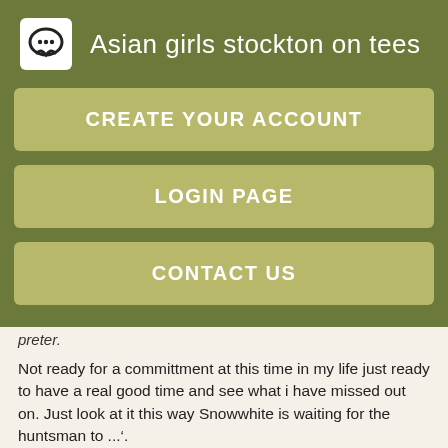Asian girls stockton on tees
CREATE YOUR ACCOUNT
LOGIN PAGE
CONTACT US
preter.
Not ready for a committment at this time in my life just ready to have a real good time and see what i have missed out on. Just look at it this way Snowwhite is waiting for the huntsman to ...'.
Remember me on this computer not recommended on public or shared computers. I am wildspontaneous, great sense of humor, fun, i like to party and i am a bit of a freak. Up. Remember that she is a fuck buddyand that you are looking for hot sex and